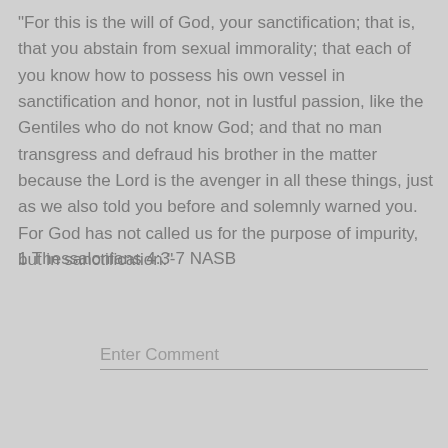"For this is the will of God, your sanctification; that is, that you abstain from sexual immorality; that each of you know how to possess his own vessel in sanctification and honor, not in lustful passion, like the Gentiles who do not know God; and that no man transgress and defraud his brother in the matter because the Lord is the avenger in all these things, just as we also told you before and solemnly warned you.  For God has not called us for the purpose of impurity, but in sanctification."
1 Thessalonians 4:3-7 NASB
Enter Comment